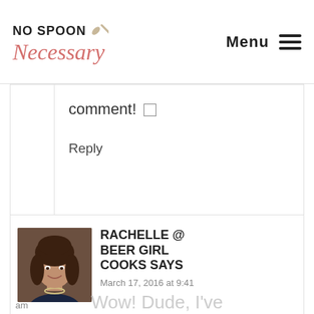No Spoon Necessary | Menu
comment! [emoji]
Reply
RACHELLE @ BEER GIRL COOKS SAYS
March 17, 2016 at 9:41 am
[Figure (photo): Profile photo of a woman with dark hair, smiling, wearing a necklace, dark background]
Wow! Dude, I've